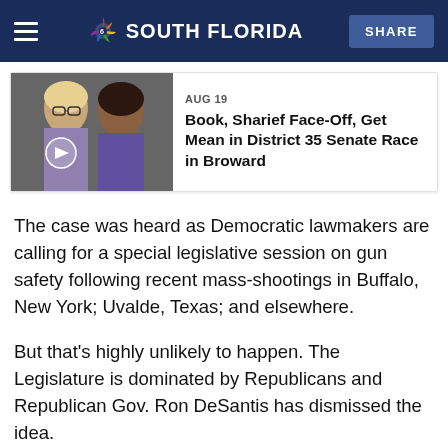NBC 6 South Florida — SHARE
[Figure (screenshot): Thumbnail image of two women (political candidates) with a play button overlay, dated AUG 19, with headline: Book, Sharief Face-Off, Get Mean in District 35 Senate Race in Broward]
AUG 19
Book, Sharief Face-Off, Get Mean in District 35 Senate Race in Broward
The case was heard as Democratic lawmakers are calling for a special legislative session on gun safety following recent mass-shootings in Buffalo, New York; Uvalde, Texas; and elsewhere.
But that's highly unlikely to happen. The Legislature is dominated by Republicans and Republican Gov. Ron DeSantis has dismissed the idea.
“With all due respect to these leftists, they just want to come after your Second Amendment rights. Let’s just be honest,”